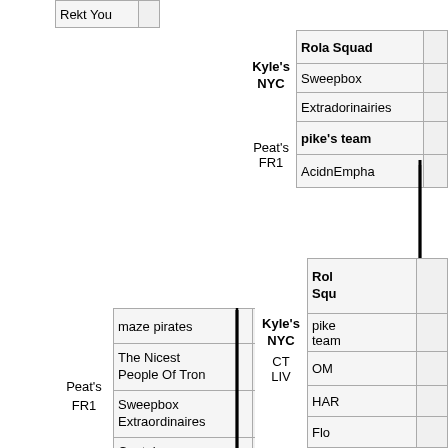[Figure (flowchart): Tournament bracket diagram showing team matchups. Top-left: partial bracket with 'Rekt You'. Middle-left: 'Peat's FR1' bracket with teams: maze pirates, The Nicest People Of Tron, Sweepbox Extraordinaires, Captain Quwarks Army. Top-right: Kyle's NYC vs Peat's FR1 bracket with Rola Squad, Sweepbox, Extradorinairies, pike's team, AcidnEmpha. Bottom-right: Kyle's NYC bracket with Rola Squad, pike's team, CT LIV with OM, HAR, Flo entries.]